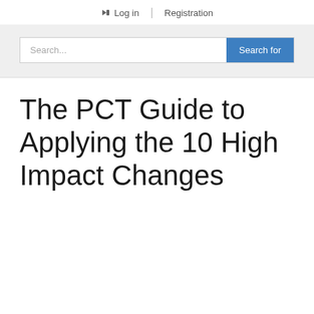Log in | Registration
Search...
The PCT Guide to Applying the 10 High Impact Changes